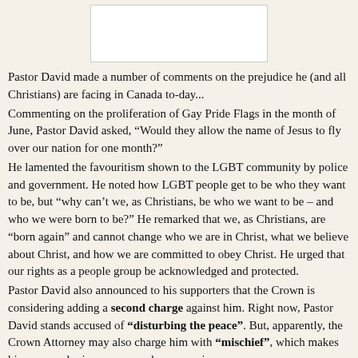[Figure (other): White rectangular image placeholder at top center of page]
Pastor David made a number of comments on the prejudice he (and all Christians) are facing in Canada to-day...
Commenting on the proliferation of Gay Pride Flags in the month of June, Pastor David asked, “Would they allow the name of Jesus to fly over our nation for one month?”
He lamented the favouritism shown to the LGBT community by police and government. He noted how LGBT people get to be who they want to be, but “why can’t we, as Christians, be who we want to be – and who we were born to be?” He remarked that we, as Christians, are “born again” and cannot change who we are in Christ, what we believe about Christ, and how we are committed to obey Christ. He urged that our rights as a people group be acknowledged and protected.
Pastor David also announced to his supporters that the Crown is considering adding a second charge against him. Right now, Pastor David stands accused of “disturbing the peace”. But, apparently, the Crown Attorney may also charge him with “mischief”, which makes his supposed crime seem much more serious.
It is absolutely shocking that the Crown, who operates under the auspices of the Doug Ford government, would continue this travesty of justice, let alone add new charges! That is not the type of leadership the people of Ontario voted for last year.